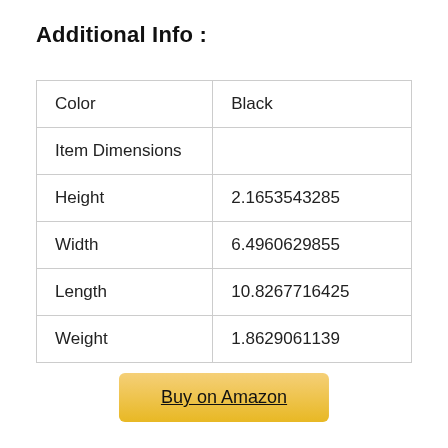Additional Info :
| Color | Black |
| Item Dimensions |  |
| Height | 2.1653543285 |
| Width | 6.4960629855 |
| Length | 10.8267716425 |
| Weight | 1.8629061139 |
Buy on Amazon